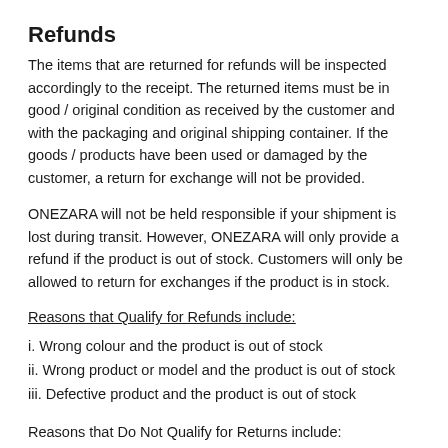Refunds
The items that are returned for refunds will be inspected accordingly to the receipt. The returned items must be in good / original condition as received by the customer and with the packaging and original shipping container. If the goods / products have been used or damaged by the customer, a return for exchange will not be provided.
ONEZARA will not be held responsible if your shipment is lost during transit. However, ONEZARA will only provide a refund if the product is out of stock. Customers will only be allowed to return for exchanges if the product is in stock.
Reasons that Qualify for Refunds include:
i. Wrong colour and the product is out of stock
ii. Wrong product or model and the product is out of stock
iii. Defective product and the product is out of stock
Reasons that Do Not Qualify for Returns include: